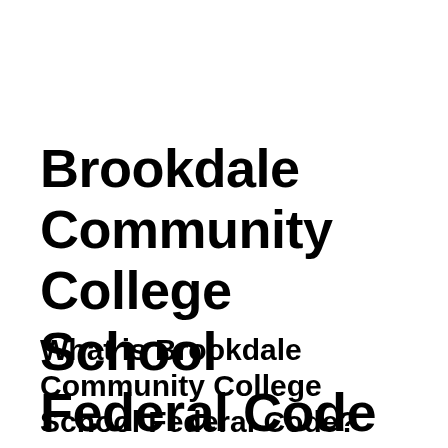Brookdale Community College School Federal Code
What is Brookdale Community College School Federal Code?